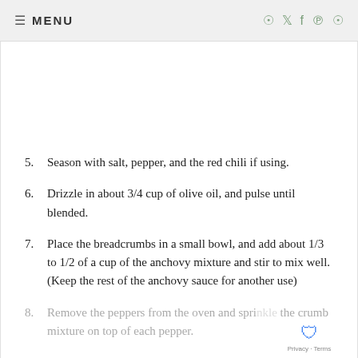≡ MENU
5. Season with salt, pepper, and the red chili if using.
6. Drizzle in about 3/4 cup of olive oil, and pulse until blended.
7. Place the breadcrumbs in a small bowl, and add about 1/3 to 1/2 of a cup of the anchovy mixture and stir to mix well. (Keep the rest of the anchovy sauce for another use)
8. Remove the peppers from the oven and sprinkle the crumb mixture on top of each pepper.